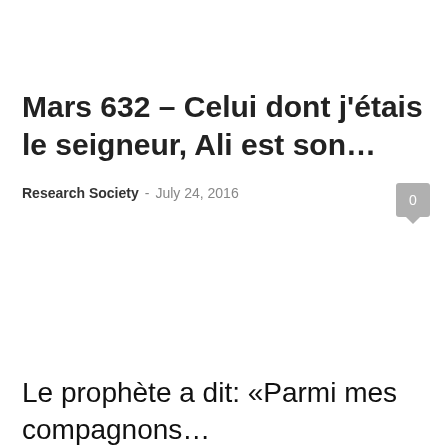Mars 632 – Celui dont j'étais le seigneur, Ali est son…
Research Society - July 24, 2016
Le prophète a dit: "Parmi mes compagnons…